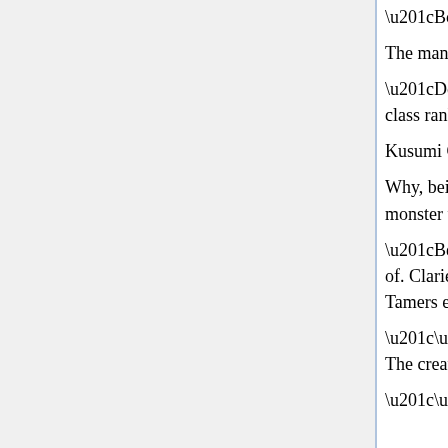“Boss… I can’t believe it.”
The man shook his head and muttered,
“Don’t Firsts[17] like Noelle have a power comparable to that of a high class rank monster tamer? This exceeds the level of just talent.
Kusumi Chiharu… Who the heck is he?
Why, being a Rookie, does he hold a combat ability on the level of a high class monster tamer!?”
“Before I answer your question, there’s something I want to make sure of. Clarie… Can you repeat to me what’s the reason why us Black Tamers exist?”
“… Yes. To put the monsters under the total control of humanity… The creation of that Arcadia is our noble objective.”
“… By what means?”